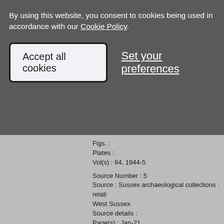By using this website, you consent to cookies being used in accordance with our Cookie Policy.
Accept all cookies
Set your preferences
Figs. :
Plates :
Vol(s) : 84, 1944-5
Source Number : 5
Source : Sussex archaeological collections : relati... West Sussex
Source details :
Page(s) : Jan-21
Figs. :
Plates :
Vol(s) : 86, 1947
Source Number : 6
Source : VIRTUAL CATALOGUE ENTRY TO SUP...
Source details : Ancient Monuments in England ar...
Page(s) :
Figs. :
Plates :
Vol(s) :
Source Number : 7
Source : Field Investigators Comments
Source details : First OS Archaeology Field Investi...